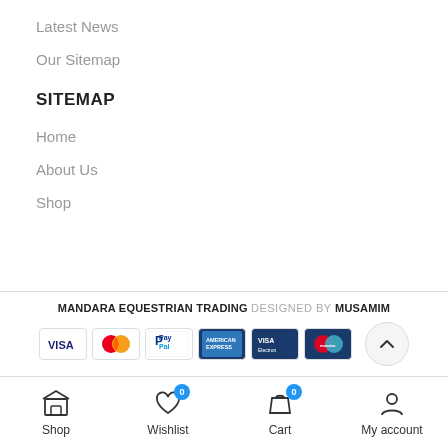Latest News
Our Sitemap
SITEMAP
Home
About Us
Shop
MANDARA EQUESTRIAN TRADING DESIGNED BY MUSAMIM
[Figure (other): Payment method icons: Visa, MasterCard, PayPal, American Express, Visa Electron, Maestro]
Shop  Wishlist 0  Cart 0  My account